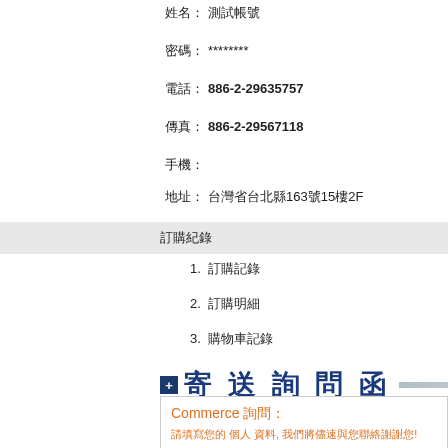姓名: 測試帳號
密碼: ********
電話: 886-2-29635757
傳真: 886-2-29567118
手機:
地址: 台灣省台北縣163號15樓2F
訂購紀錄
1. 訂購記錄
2. 訂購明細
3. 購物車記錄
+ 寄送詢問函
Commerce 詢問:
請填寫您的 個人 資料, 我們將儘速與您聯絡謝謝您!
姓名:  姓名: